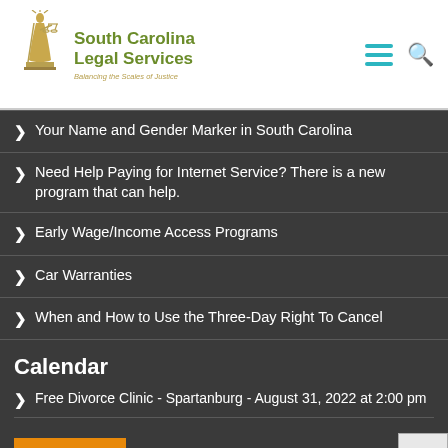[Figure (logo): South Carolina Legal Services logo with Lady Justice figure holding scales, green text, and tagline 'Balancing the Scales of Justice']
Your Name and Gender Marker in South Carolina
Need Help Paying for Internet Service? There is a new program that can help.
Early Wage/Income Access Programs
Car Warranties
When and How to Use the Three-Day Right To Cancel
Calendar
Free Divorce Clinic - Spartanburg - August 31, 2022 at 2:00 pm